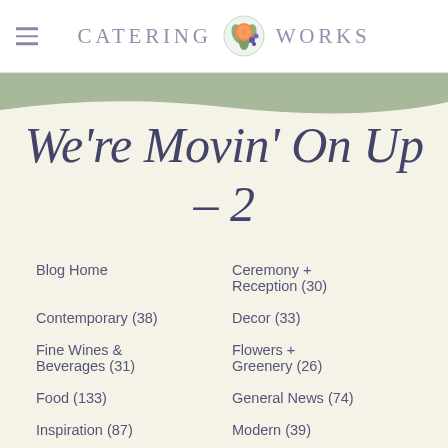≡ CATERING 🍊 WORKS
We're Movin' On Up – 2
Blog Home
Ceremony + Reception (30)
Contemporary (38)
Decor (33)
Fine Wines & Beverages (31)
Flowers + Greenery (26)
Food (133)
General News (74)
Inspiration (87)
Modern (39)
Recipes (78)
Traditional (34)